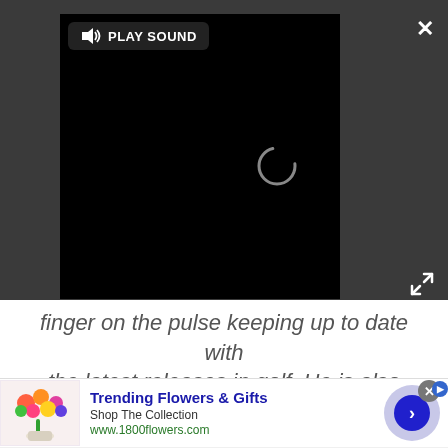[Figure (screenshot): Video player with black background showing a loading spinner, a 'PLAY SOUND' button with speaker icon at top left, a close X button at top right, and an expand/fullscreen icon at bottom right. All on a dark gray overlay background.]
finger on the pulse keeping up to date with the latest releases in golf. He is also responsible for all content on irons and golf tech, including distance measuring devices and launch monitors.
[Figure (screenshot): Advertisement banner for '1800flowers.com' showing 'Trending Flowers & Gifts', 'Shop The Collection', 'www.1800flowers.com', with a flower bouquet image on the left and a blue circle arrow button on the right. Has a close X button and an ad badge icon.]